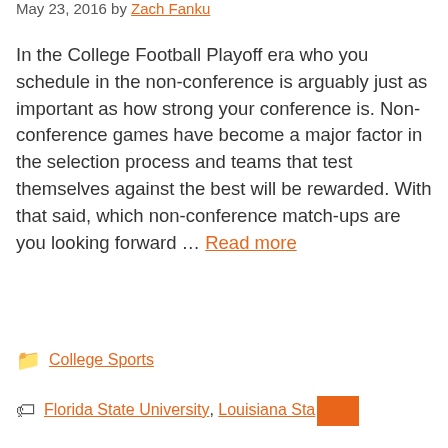May 23, 2016 by Zach Fanku
In the College Football Playoff era who you schedule in the non-conference is arguably just as important as how strong your conference is. Non-conference games have become a major factor in the selection process and teams that test themselves against the best will be rewarded. With that said, which non-conference match-ups are you looking forward … Read more
College Sports
Florida State University, Louisiana State…